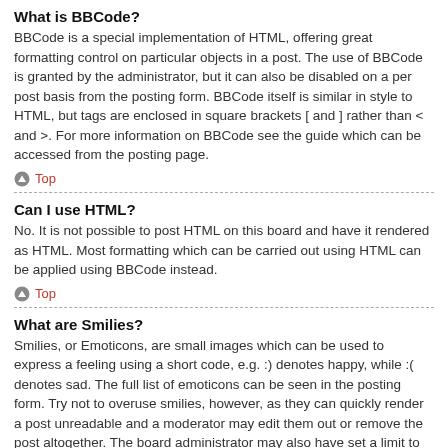What is BBCode?
BBCode is a special implementation of HTML, offering great formatting control on particular objects in a post. The use of BBCode is granted by the administrator, but it can also be disabled on a per post basis from the posting form. BBCode itself is similar in style to HTML, but tags are enclosed in square brackets [ and ] rather than < and >. For more information on BBCode see the guide which can be accessed from the posting page.
Top
Can I use HTML?
No. It is not possible to post HTML on this board and have it rendered as HTML. Most formatting which can be carried out using HTML can be applied using BBCode instead.
Top
What are Smilies?
Smilies, or Emoticons, are small images which can be used to express a feeling using a short code, e.g. :) denotes happy, while :( denotes sad. The full list of emoticons can be seen in the posting form. Try not to overuse smilies, however, as they can quickly render a post unreadable and a moderator may edit them out or remove the post altogether. The board administrator may also have set a limit to the number of smilies